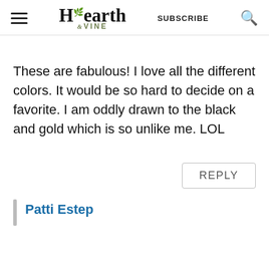Hearth & Vine — SUBSCRIBE
These are fabulous! I love all the different colors. It would be so hard to decide on a favorite. I am oddly drawn to the black and gold which is so unlike me. LOL
REPLY
Patti Estep